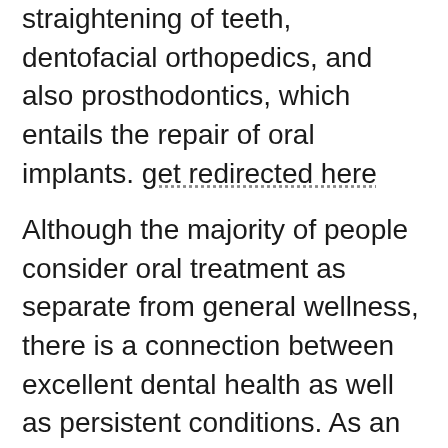include orthodontics, which involves the straightening of teeth, dentofacial orthopedics, and also prosthodontics, which entails the repair of oral implants. get redirected here
Although the majority of people consider oral treatment as separate from general wellness, there is a connection between excellent dental health as well as persistent conditions. As an example, bad oral health and wellness has been related to greater danger for diabetes mellitus, heart problem, as well as preterm birth. These issues are typically prevented with public health projects, such as college sealer programs. The relevance of oral treatment can not be downplayed. And also if you are suffering from oral troubles, the benefits of oral treatment can far